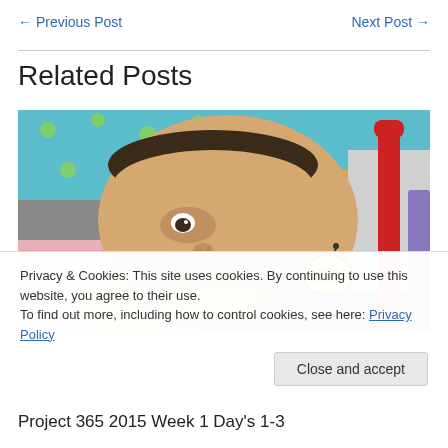← Previous Post
Next Post →
Related Posts
[Figure (photo): A baby lying down looking up at the camera, with colorful toys and bedding visible in the background including a red toy and a bee character toy.]
Privacy & Cookies: This site uses cookies. By continuing to use this website, you agree to their use.
To find out more, including how to control cookies, see here: Privacy Policy
Close and accept
Project 365 2015 Week 1 Day's 1-3